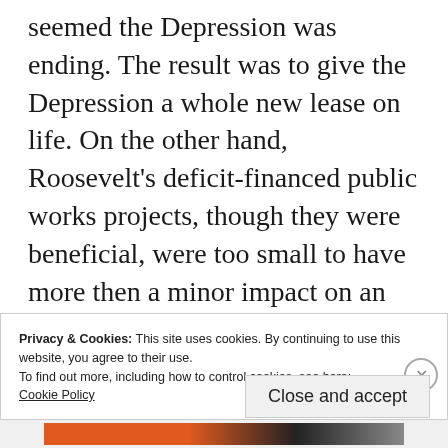seemed the Depression was ending. The result was to give the Depression a whole new lease on life. On the other hand, Roosevelt's deficit-financed public works projects, though they were beneficial, were too small to have more then a minor impact on an economy that was already recovering through the cyclical mechanisms of the industrial cycle. Therefore, it is hard to deny that overall the New Deal made the
Privacy & Cookies: This site uses cookies. By continuing to use this website, you agree to their use.
To find out more, including how to control cookies, see here:
Cookie Policy
Close and accept